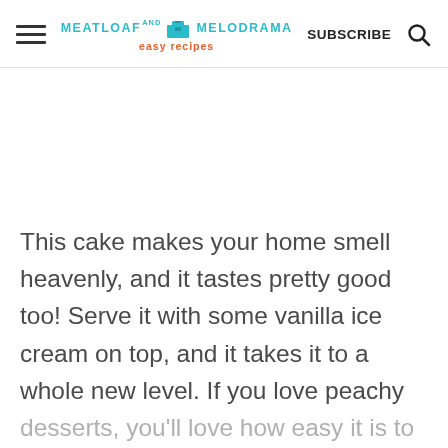MEATLOAF AND MELODRAMA easy recipes | SUBSCRIBE
This cake makes your home smell heavenly, and it tastes pretty good too! Serve it with some vanilla ice cream on top, and it takes it to a whole new level. If you love peachy desserts, you'll love how easy it is to